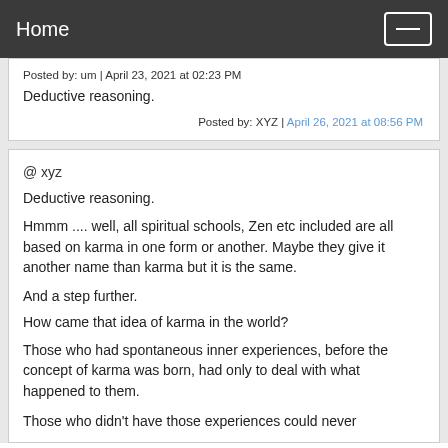Home
Posted by: um | April 23, 2021 at 02:23 PM
Deductive reasoning.
Posted by: XYZ | April 26, 2021 at 08:56 PM
@ xyz
Deductive reasoning.
Hmmm .... well, all spiritual schools, Zen etc included are all based on karma in one form or another. Maybe they give it another name than karma but it is the same.
And a step further.
How came that idea of karma in the world?
Those who had spontaneous inner experiences, before the concept of karma was born, had only to deal with what happened to them.
Those who didn't have those experiences could never